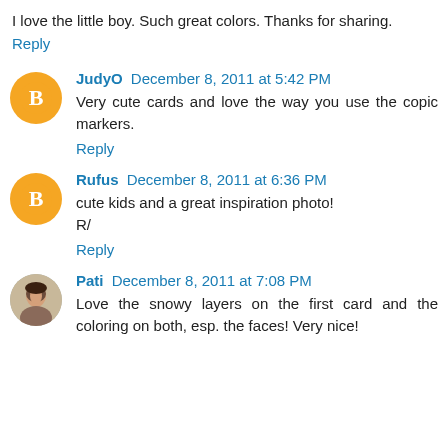I love the little boy. Such great colors. Thanks for sharing.
Reply
JudyO December 8, 2011 at 5:42 PM
Very cute cards and love the way you use the copic markers.
Reply
Rufus December 8, 2011 at 6:36 PM
cute kids and a great inspiration photo!
R/
Reply
Pati December 8, 2011 at 7:08 PM
Love the snowy layers on the first card and the coloring on both, esp. the faces! Very nice!